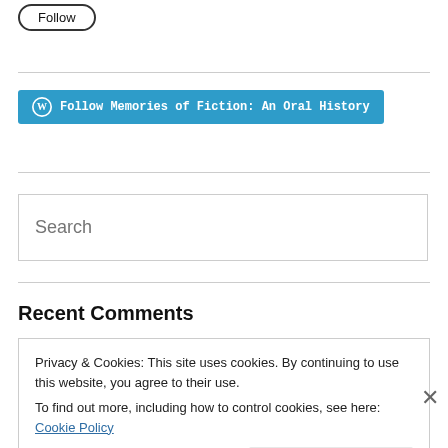Follow
[Figure (other): WordPress Follow button: 'Follow Memories of Fiction: An Oral History' in teal/blue background with WordPress logo]
[Figure (other): Search input box with placeholder text 'Search']
Recent Comments
Privacy & Cookies: This site uses cookies. By continuing to use this website, you agree to their use.
To find out more, including how to control cookies, see here: Cookie Policy
Close and accept